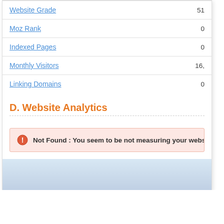| Metric | Value |
| --- | --- |
| Website Grade | 51 |
| Moz Rank | 0 |
| Indexed Pages | 0 |
| Monthly Visitors | 16, |
| Linking Domains | 0 |
D. Website Analytics
Not Found : You seem to be not measuring your website pe